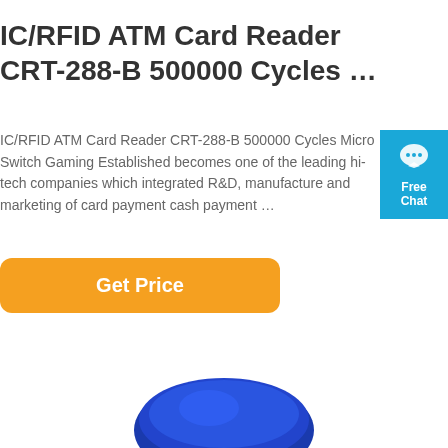IC/RFID ATM Card Reader CRT-288-B 500000 Cycles …
IC/RFID ATM Card Reader CRT-288-B 500000 Cycles Micro Switch Gaming Established becomes one of the leading hi-tech companies which integrated R&D, manufacture and marketing of card payment cash payment …
[Figure (other): Blue chat widget with speech bubble icon and 'Free Chat' label on cyan/teal background]
[Figure (photo): Bottom portion of blue product (card reader device) shown partially at bottom of page]